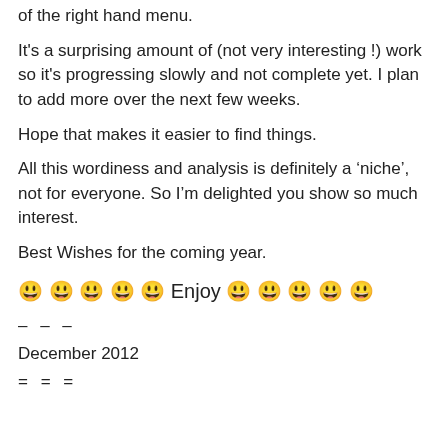of the right hand menu.
It's a surprising amount of (not very interesting !) work so it's progressing slowly and not complete yet. I plan to add more over the next few weeks.
Hope that makes it easier to find things.
All this wordiness and analysis is definitely a ‘niche’, not for everyone. So I’m delighted you show so much interest.
Best Wishes for the coming year.
😃 😃 😃 😃 😃 Enjoy 😃 😃 😃 😃 😃
– – –
December 2012
= = =